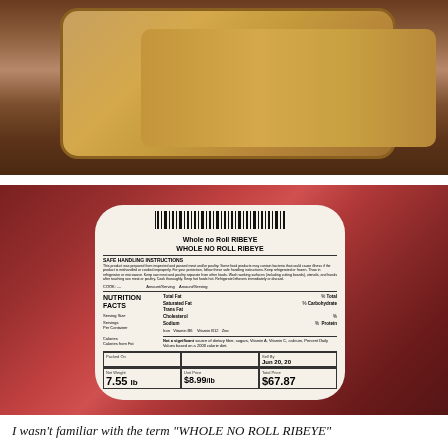[Figure (photo): Top photo showing a wooden cutting board on a dark background, viewed from above]
[Figure (photo): Photo of a raw whole no roll ribeye cut of beef in plastic packaging with a nutrition facts and price label showing: Net Weight 7.55 lb, Unit Price $8.99/lb, Total Price $67.87, Sell By Jun 20 20. Product label reads WHOLE NO ROLL RIBEYE. Nutrition Facts panel visible.]
I wasn't familiar with the term "WHOLE NO ROLL RIBEYE"